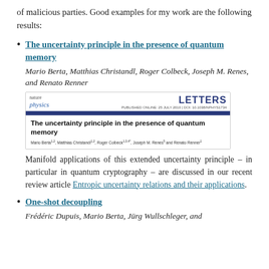of malicious parties. Good examples for my work are the following results:
The uncertainty principle in the presence of quantum memory
Mario Berta, Matthias Christandl, Roger Colbeck, Joseph M. Renes, and Renato Renner
[Figure (screenshot): Screenshot of Nature Physics journal article header showing 'The uncertainty principle in the presence of quantum memory' by Mario Berta, Matthias Christandl, Roger Colbeck, Joseph M. Renes and Renato Renner, published as a Letters article.]
Manifold applications of this extended uncertainty principle – in particular in quantum cryptography – are discussed in our recent review article Entropic uncertainty relations and their applications.
One-shot decoupling
Frédéric Dupuis, Mario Berta, Jürg Wullschleger, and